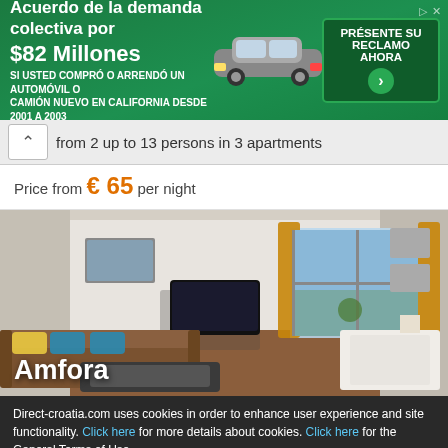[Figure (infographic): Green advertisement banner for a class action lawsuit settlement of $82 million for people who bought or leased a new car or truck in California from 2001 to 2003. Includes an image of a pickup truck and a call-to-action button in Spanish.]
from 2 up to 13 persons in 3 apartments
Price from € 65 per night
[Figure (photo): Interior photo of the Amfora apartment showing a living room with a brown L-shaped sofa, blue cushions, a coffee table, wall-mounted TV, yellow/orange curtains and sliding glass doors leading to a balcony.]
Direct-croatia.com uses cookies in order to enhance user experience and site functionality. Click here for more details about cookies. Click here for the General Terms of Use
By continuing you accept the General Terms of Use and the use of cookies.